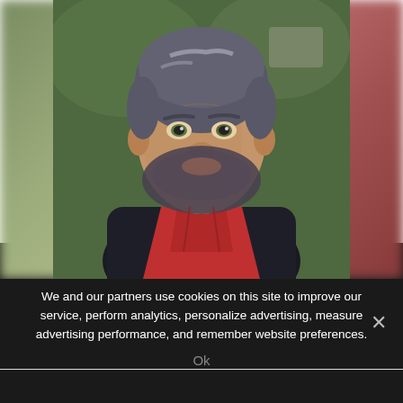[Figure (photo): Portrait photo of a middle-aged bearded man with grey-streaked dark hair, smiling slightly, wearing a red hoodie and dark jacket. Background is blurred green/outdoor setting.]
Man died from cancer after hospital staff lost scan showing kidney tumour
We and our partners use cookies on this site to improve our service, perform analytics, personalize advertising, measure advertising performance, and remember website preferences.
Ok